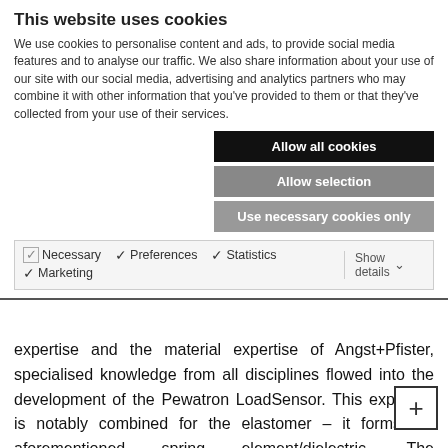This website uses cookies
We use cookies to personalise content and ads, to provide social media features and to analyse our traffic. We also share information about your use of our site with our social media, advertising and analytics partners who may combine it with other information that you've provided to them or that they've collected from your use of their services.
Allow all cookies
Allow selection
Use necessary cookies only
Necessary   ✓ Preferences   ✓ Statistics   ✓ Marketing   Show details
expertise and the material expertise of Angst+Pfister, specialised knowledge from all disciplines flowed into the development of the Pewatron LoadSensor. This expertise is notably combined for the elastomer – it forms the aforementioned spring element/dielectric. The consolidation of comprehensive specific knowledge in one company is arguably unique. This is because most sensor companies have in-depth knowledge in the field of electronic of the typical materials used in sensors such as silicon, ceramic